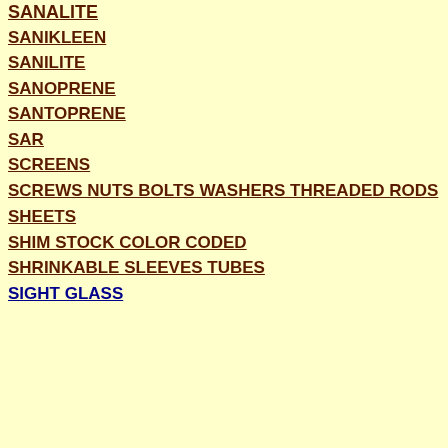SANALITE
SANIKLEEN
SANILITE
SANOPRENE
SANTOPRENE
SAR
SCREENS
SCREWS NUTS BOLTS WASHERS THREADED RODS
SHEETS
SHIM STOCK COLOR CODED
SHRINKABLE SLEEVES TUBES
SIGHT GLASS